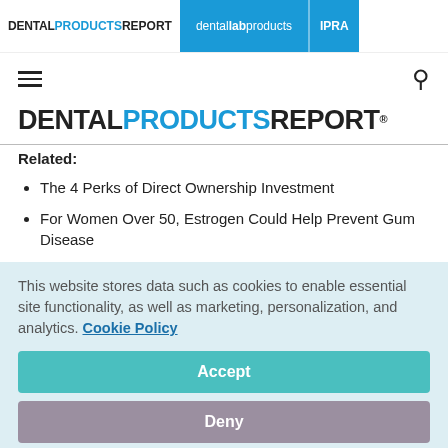DENTAL PRODUCTS REPORT | dental lab products | IPRA
[Figure (logo): Dental Products Report logo in large bold text with PRODUCTS in blue]
Related:
The 4 Perks of Direct Ownership Investment
For Women Over 50, Estrogen Could Help Prevent Gum Disease
This website stores data such as cookies to enable essential site functionality, as well as marketing, personalization, and analytics. Cookie Policy
Accept
Deny